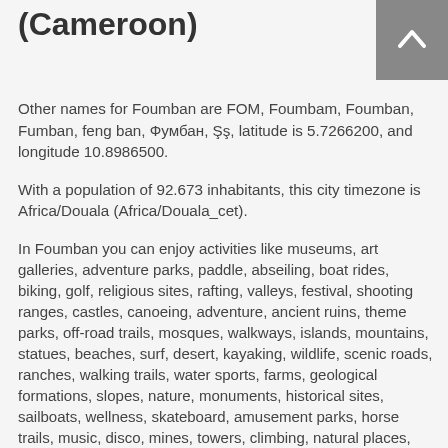(Cameroon)
Other names for Foumban are FOM, Foumbam, Foumban, Fumban, feng ban, Фумбан, NN, latitude is 5.7266200, and longitude 10.8986500.
With a population of 92.673 inhabitants, this city timezone is Africa/Douala (Africa/Douala_cet).
In Foumban you can enjoy activities like museums, art galleries, adventure parks, paddle, abseiling, boat rides, biking, golf, religious sites, rafting, valleys, festival, shooting ranges, castles, canoeing, adventure, ancient ruins, theme parks, off-road trails, mosques, walkways, islands, mountains, statues, beaches, surf, desert, kayaking, wildlife, scenic roads, ranches, walking trails, water sports, farms, geological formations, slopes, nature, monuments, historical sites, sailboats, wellness, skateboard, amusement parks, horse trails, music, disco, mines, towers, climbing, natural places, volcanoes, secret, forest, hiking trails, parks, architectural buildings in Cameroon.